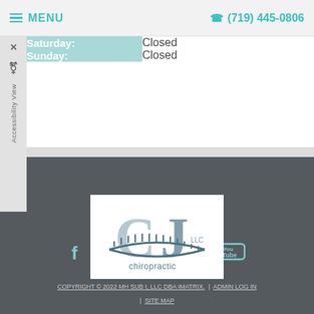MENU | (719) 445-0806
| Day | Hours |
| --- | --- |
| Saturday: | Closed |
| Sunday: | Closed |
[Figure (logo): CJ Chiropractic LLC logo with spine graphic]
[Figure (infographic): Social media icons: Facebook, Yelp, Pinterest, Instagram, Twitter, YouTube]
COPYRIGHT © 2022 MH SUB I, LLC DBA IMATRIX. | ADMIN LOG IN | SITE MAP